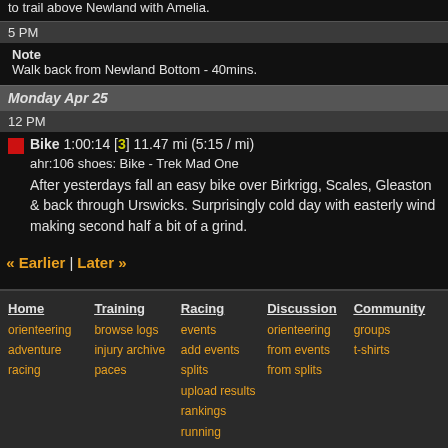to trail above Newland with Amelia.
5 PM
Note
Walk back from Newland Bottom - 40mins.
Monday Apr 25
12 PM
Bike 1:00:14 [3] 11.47 mi (5:15 / mi)
ahr:106 shoes: Bike - Trek Mad One
After yesterdays fall an easy bike over Birkrigg, Scales, Gleaston & back through Urswicks. Surprisingly cold day with easterly wind making second half a bit of a grind.
« Earlier | Later »
Home
orienteering
adventure racing
Training
browse logs
injury archive
paces
Racing
events
add events
splits
upload results
rankings
running
Discussion
orienteering
from events
from splits
Community
groups
t-shirts